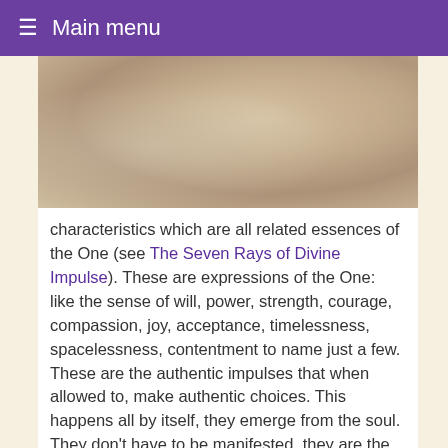≡ Main menu
[Figure (photo): A faded vintage-style photo showing a person in light clothing against a floral/nature background]
characteristics which are all related essences of the One (see The Seven Rays of Divine Impulse). These are expressions of the One: like the sense of will, power, strength, courage, compassion, joy, acceptance, timelessness, spacelessness, contentment to name just a few. These are the authentic impulses that when allowed to, make authentic choices. This happens all by itself, they emerge from the soul. They don't have to be manifested, they are the intrinsic nature of the soul. In fact trying to manifest these qualities only squeezes the juice out of them - you're left with a dim shadow.